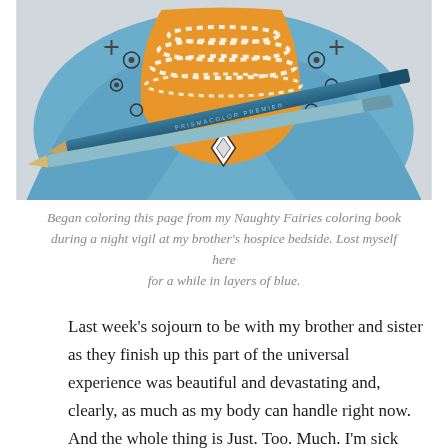[Figure (photo): A colored pencil drawing of a decorative figure wearing blue robes and elaborate jewelry including pearl necklaces and ornate embroidery. Two blue colored pencils rest diagonally across the drawing.]
Began coloring this page from my Naughty Fairies coloring book during a night vigil at my brother's hospice bedside. Lost myself here for a while in layers of blue.
Last week's sojourn to be with my brother and sister as they finish up this part of the universal experience was beautiful and devastating and, clearly, as much as my body can handle right now. And the whole thing is Just. Too. Much. I'm sick now, in body and heart, and I cannot